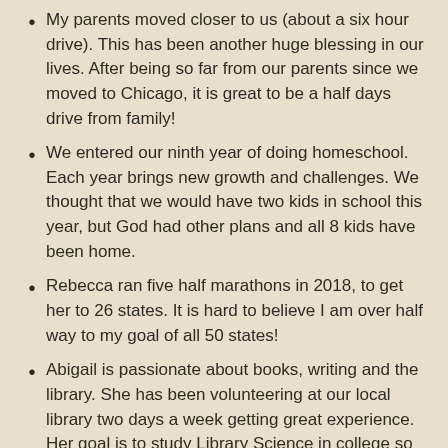My parents moved closer to us (about a six hour drive). This has been another huge blessing in our lives. After being so far from our parents since we moved to Chicago, it is great to be a half days drive from family!
We entered our ninth year of doing homeschool. Each year brings new growth and challenges. We thought that we would have two kids in school this year, but God had other plans and all 8 kids have been home.
Rebecca ran five half marathons in 2018, to get her to 26 states. It is hard to believe I am over half way to my goal of all 50 states!
Abigail is passionate about books, writing and the library. She has been volunteering at our local library two days a week getting great experience. Her goal is to study Library Science in college so she can be a librarian. She continues to do well in school, loves debating, and loves to read!